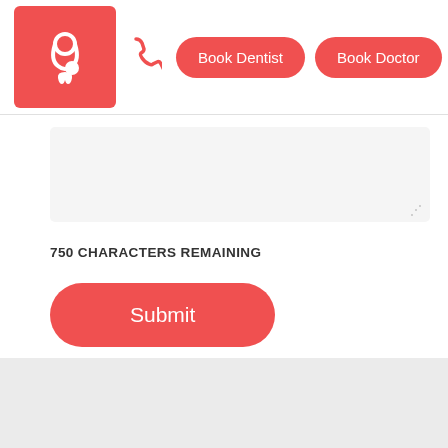[Figure (logo): Red square logo with white stethoscope and tooth icon]
[Figure (illustration): Red phone/call icon]
Book Dentist
Book Doctor
750 CHARACTERS REMAINING
Submit